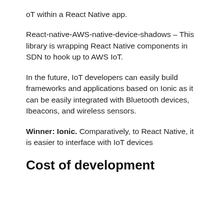oT within a React Native app.
React-native-AWS-native-device-shadows – This library is wrapping React Native components in SDN to hook up to AWS IoT.
In the future, IoT developers can easily build frameworks and applications based on Ionic as it can be easily integrated with Bluetooth devices, Ibeacons, and wireless sensors.
Winner: Ionic. Comparatively, to React Native, it is easier to interface with IoT devices
Cost of development